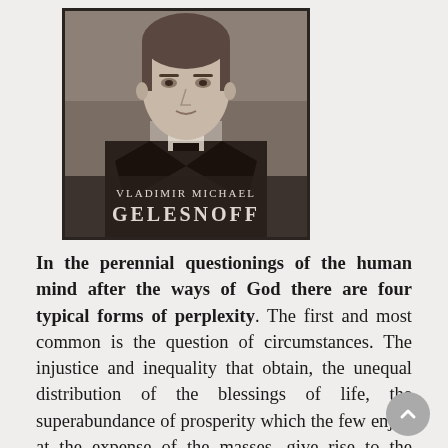[Figure (photo): Sepia-toned portrait photograph of Vladimir Michael Gelesnoff, a man in a dark suit with a bow tie. Text overlay reads 'VLADIMIR MICHAEL' and 'GELESNOFF' at the bottom of the image.]
In the perennial questionings of the human mind after the ways of God there are four typical forms of perplexity. The first and most common is the question of circumstances. The injustice and inequality that obtain, the unequal distribution of the blessings of life, the superabundance of prosperity which the few enjoy at the expense of the masses, give rise to the question, How can such a condition be tolerated in the